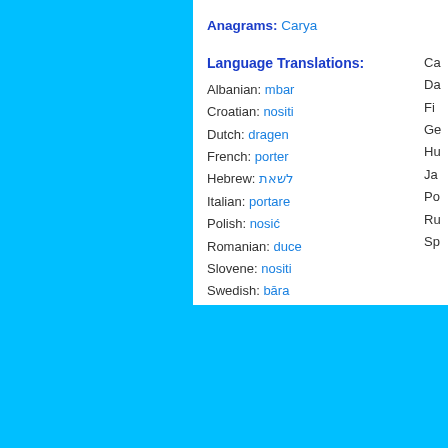Anagrams: Carya
Language Translations:
Albanian: mbar
Croatian: nositi
Dutch: dragen
French: porter
Hebrew: לשאת
Italian: portare
Polish: nosić
Romanian: duce
Slovene: nositi
Swedish: bāra
Search Dictionary
Search the meaning and definition of over one hundred thousand words!
Rando
Notice /var/www